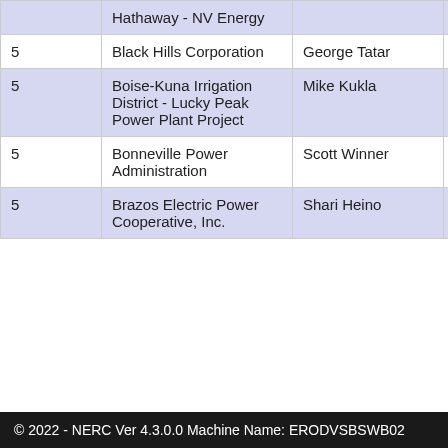|  |  |  |  |
| --- | --- | --- | --- |
|  | Hathaway - NV Energy |  |  |
| 5 | Black Hills Corporation | George Tatar |  |
| 5 | Boise-Kuna Irrigation District - Lucky Peak Power Plant Project | Mike Kukla |  |
| 5 | Bonneville Power Administration | Scott Winner |  |
| 5 | Brazos Electric Power Cooperative, Inc. | Shari Heino |  |
© 2022 - NERC Ver 4.3.0.0 Machine Name: ERODVSBSWB02